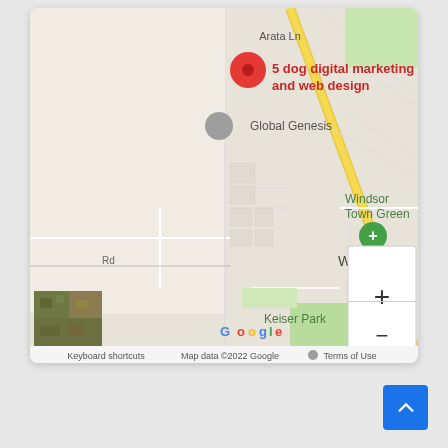[Figure (map): Google Maps screenshot showing the location of '5 dog digital marketing and web design' near Windsor, CA. Visible landmarks include Arata Ln, Global Genesis, Windsor Town Green, Keiser Park, and a road labeled Rd. The map has zoom controls (+/-) and shows a red location pin. Bottom bar shows Keyboard shortcuts, Map data ©2022 Google, Terms of Use. A street view thumbnail is visible in the bottom-left.]
[Figure (other): Blue scroll-to-top button with an upward chevron arrow, positioned in the bottom-right of the page.]